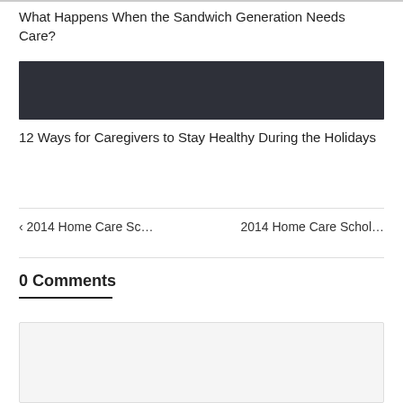What Happens When the Sandwich Generation Needs Care?
[Figure (photo): Dark rectangular image placeholder with dark charcoal background]
12 Ways for Caregivers to Stay Healthy During the Holidays
‹ 2014 Home Care Sc…
2014 Home Care Schol…
0 Comments
Leave a reply